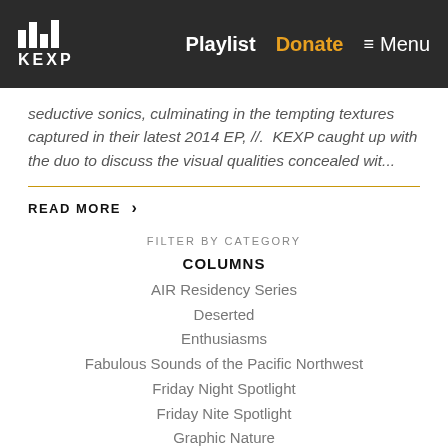Playlist  Donate  ≡ Menu
seductive sonics, culminating in the tempting textures captured in their latest 2014 EP, //.  KEXP caught up with the duo to discuss the visual qualities concealed wit...
READ MORE ›
FILTER BY CATEGORY
COLUMNS
AIR Residency Series
Deserted
Enthusiasms
Fabulous Sounds of the Pacific Northwest
Friday Night Spotlight
Friday Nite Spotlight
Graphic Nature
Immigrant Songs
In Our Headphones
Intern(al)
Living Singles